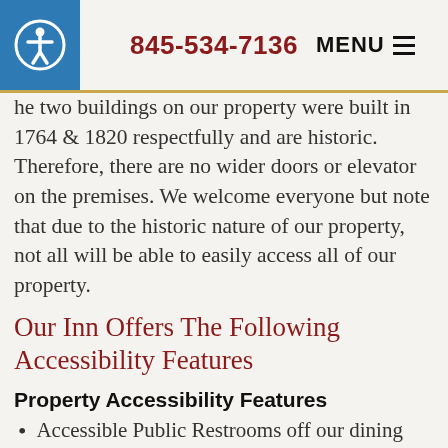845-534-7136  MENU
The two buildings on our property were built in 1764 & 1820 respectfully and are historic. Therefore, there are no wider doors or elevator on the premises. We welcome everyone but note that due to the historic nature of our property, not all will be able to easily access all of our property.
Our Inn Offers The Following Accessibility Features
Property Accessibility Features
Accessible Public Restrooms off our dining area
Dining Room is on the Ground Floor and is accessible by back patio side door